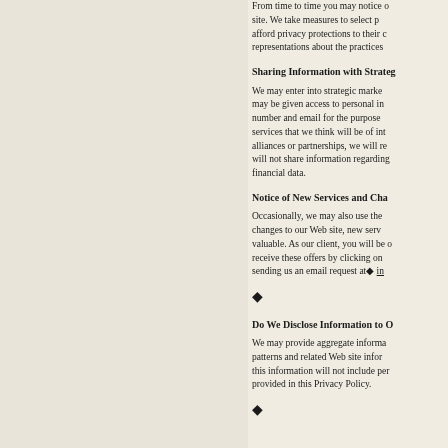From time to time you may notice other companies' links appearing on our site. We take measures to select partners that share our commitment to afford privacy protections to their customers, but we cannot make representations about the practices of other sites.
Sharing Information with Strategic Alliances
We may enter into strategic marketing alliances or partnerships where they may be given access to personal information such as your name, address, phone number and email for the purpose of providing you information about products and services that we think will be of interest to you. In conjunction with these alliances or partnerships, we will require that these companies agree that they will not share information regarding you with others, and they will not share your financial data.
Notice of New Services and Changes
Occasionally, we may also use the information we collect to notify you about important changes to our Web site, new services, and special offers we think you will find valuable. As our client, you will be given the opportunity to notify us if you do not wish to receive these offers by clicking on the unsubscribe link at the bottom of every email, or by sending us an email request at◆ info@...
◆
Do We Disclose Information to Outside Parties?
We may provide aggregate information about our customers, sales, traffic patterns and related Web site information to our partners or reputable third parties, but this information will not include personally identifying information except as otherwise provided in this Privacy Policy.
◆